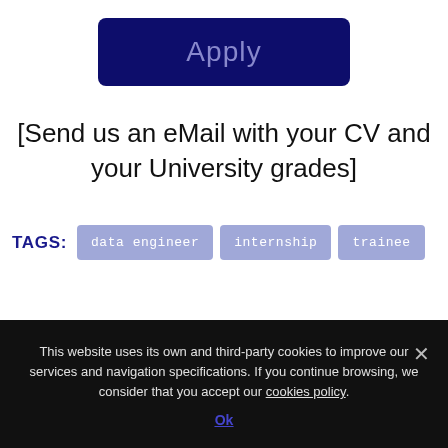[Figure (other): Dark navy blue 'Apply' button with rounded corners and light blue/grey text reading 'Apply']
[Send us an eMail with your CV and your University grades]
TAGS: data engineer  internship  trainee
This website uses its own and third-party cookies to improve our services and navigation specifications. If you continue browsing, we consider that you accept our cookies policy.
Ok